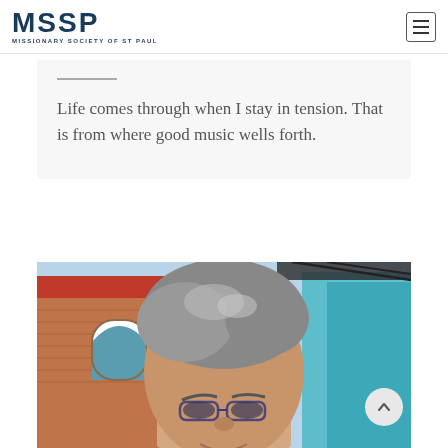MSSP - MISSIONARY SOCIETY OF ST PAUL
Life comes through when I stay in tension.  That is from where good music wells forth.
[Figure (photo): Close-up photo of a middle-aged man with grey hair and glasses, standing in front of a brick building with an arched window and a blue structure in the background.]